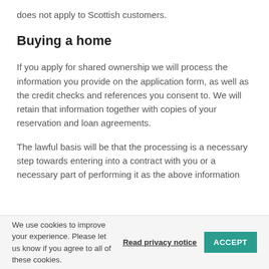does not apply to Scottish customers.
Buying a home
If you apply for shared ownership we will process the information you provide on the application form, as well as the credit checks and references you consent to. We will retain that information together with copies of your reservation and loan agreements.
The lawful basis will be that the processing is a necessary step towards entering into a contract with you or a necessary part of performing it as the above information
We use cookies to improve your experience. Please let us know if you agree to all of these cookies. Read privacy notice ACCEPT